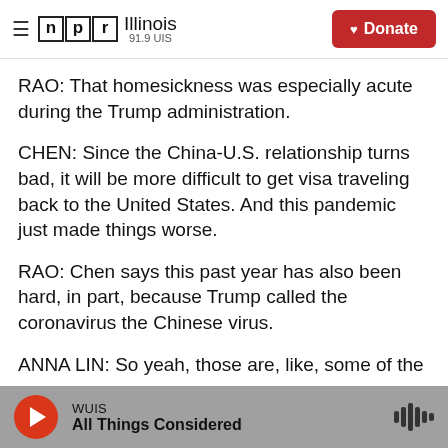NPR Illinois 91.9 UIS | Donate
RAO: That homesickness was especially acute during the Trump administration.
CHEN: Since the China-U.S. relationship turns bad, it will be more difficult to get visa traveling back to the United States. And this pandemic just made things worse.
RAO: Chen says this past year has also been hard, in part, because Trump called the coronavirus the Chinese virus.
ANNA LIN: So yeah, those are, like, some of the
WUIS | All Things Considered